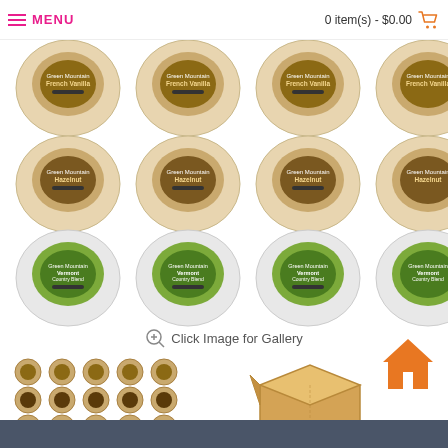MENU   0 item(s) - $0.00
[Figure (photo): Grid of Green Mountain Coffee K-cup pods showing three rows: French Vanilla (top), Hazelnut (middle), and Vermont Country Blend (bottom), 6 pods per row]
Click Image for Gallery
[Figure (photo): Small thumbnail grid of K-cup pods showing variety pack arrangement]
[Figure (photo): Cardboard box with K-cup pod, with caption: K-cups will be packaged in a box similar to the one shown.]
[Figure (illustration): Orange house/home icon button]